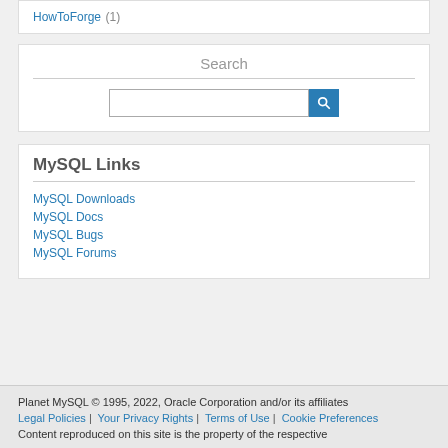HowToForge (1)
Search
[Figure (other): Search input field with blue search button]
MySQL Links
MySQL Downloads
MySQL Docs
MySQL Bugs
MySQL Forums
Planet MySQL © 1995, 2022, Oracle Corporation and/or its affiliates | Legal Policies | Your Privacy Rights | Terms of Use | Cookie Preferences | Content reproduced on this site is the property of the respective